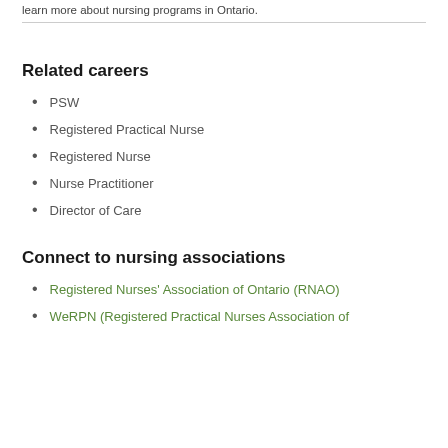learn more about nursing programs in Ontario.
Related careers
PSW
Registered Practical Nurse
Registered Nurse
Nurse Practitioner
Director of Care
Connect to nursing associations
Registered Nurses' Association of Ontario (RNAO)
WeRPN (Registered Practical Nurses Association of